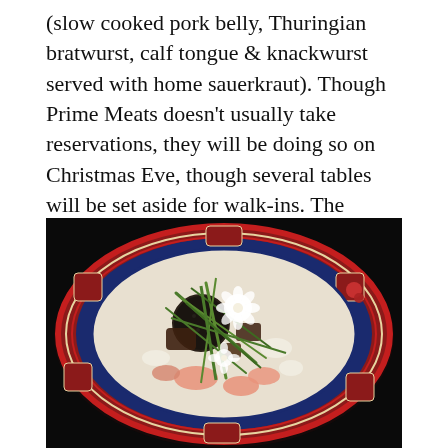(slow cooked pork belly, Thuringian bratwurst, calf tongue & knackwurst served with home sauerkraut). Though Prime Meats doesn't usually take reservations, they will be doing so on Christmas Eve, though several tables will be set aside for walk-ins. The restaurant will be closed on Christmas day.
[Figure (photo): A colorful decorative plate with Asian-inspired blue, red, and gold patterned rim, filled with a dish featuring greens, salmon-colored pieces of food, and a dark round item, garnished with white flowers and green herbs, photographed on a dark background.]